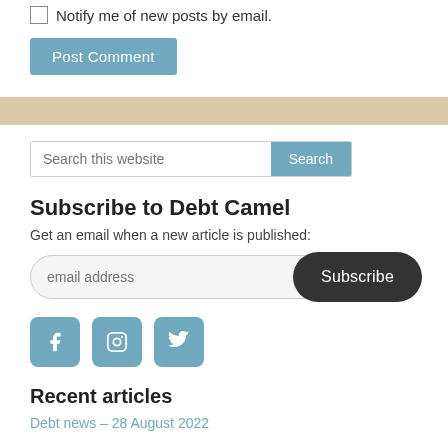Notify me of new posts by email.
Post Comment
Search this website
Subscribe to Debt Camel
Get an email when a new article is published:
email address
Subscribe
[Figure (infographic): Social media icons: Facebook, Instagram, Twitter]
Recent articles
Debt news – 28 August 2022